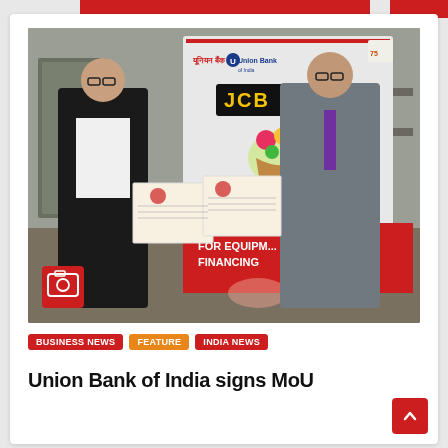[Figure (photo): Two men in business attire holding MoU documents in front of a Union Bank of India and JCB banner. A red banner at the bottom reads 'FOR EQUIPMENT FINANCING'. A camera icon badge is overlaid at the bottom left of the photo.]
BUSINESS NEWS
FEATURE
INDIA NEWS
Union Bank of India signs MoU